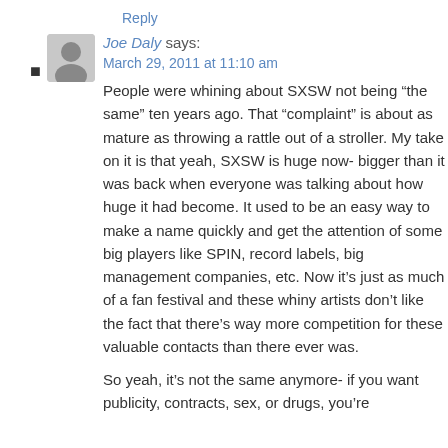Reply
Joe Daly says:
March 29, 2011 at 11:10 am
People were whining about SXSW not being “the same” ten years ago. That “complaint” is about as mature as throwing a rattle out of a stroller. My take on it is that yeah, SXSW is huge now- bigger than it was back when everyone was talking about how huge it had become. It used to be an easy way to make a name quickly and get the attention of some big players like SPIN, record labels, big management companies, etc. Now it's just as much of a fan festival and these whiny artists don’t like the fact that there's way more competition for these valuable contacts than there ever was.
So yeah, it's not the same anymore- if you want publicity, contracts, sex, or drugs, you're